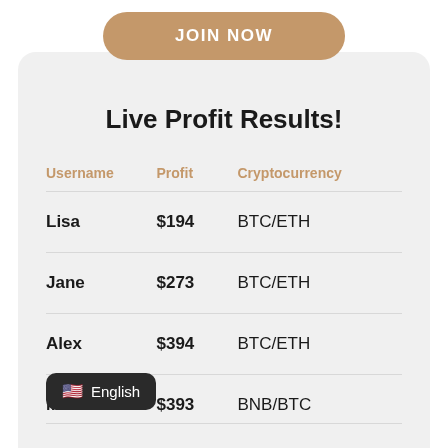JOIN NOW
Live Profit Results!
| Username | Profit | Cryptocurrency |
| --- | --- | --- |
| Lisa | $194 | BTC/ETH |
| Jane | $273 | BTC/ETH |
| Alex | $394 | BTC/ETH |
| M... | $393 | BNB/BTC |
🇺🇸 English